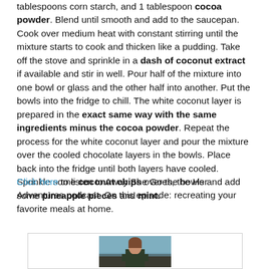tablespoons corn starch, and 1 tablespoon cocoa powder. Blend until smooth and add to the saucepan. Cook over medium heat with constant stirring until the mixture starts to cook and thicken like a pudding. Take off the stove and sprinkle in a dash of coconut extract if available and stir in well. Pour half of the mixture into one bowl or glass and the other half into another. Put the bowls into the fridge to chill. The white coconut layer is prepared in the exact same way with the same ingredients minus the cocoa powder. Repeat the process for the white coconut layer and pour the mixture over the cooled chocolate layers in the bowls. Place back into the fridge until both layers have cooled. Sprinkle some coconut chips over the bowls and add some pineapple pieces and mint.
Click here to listen to Away She Goes, the Her Adventures podcast. On this episode: recreating your favorite meals at home.
[Figure (photo): Photo of a woman outdoors near water, shown from approximately chest up, with a blurred natural background.]